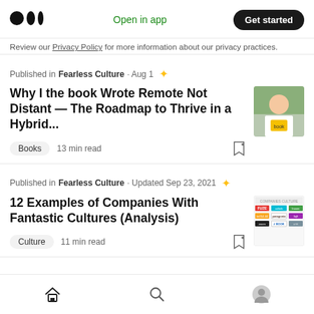Medium logo | Open in app | Get started
Review our Privacy Policy for more information about our privacy practices.
Published in Fearless Culture · Aug 1 ★
Why I the book Wrote Remote Not Distant — The Roadmap to Thrive in a Hybrid...
Books   13 min read
Published in Fearless Culture · Updated Sep 23, 2021 ★
12 Examples of Companies With Fantastic Cultures (Analysis)
Culture   11 min read
Home | Search | Profile